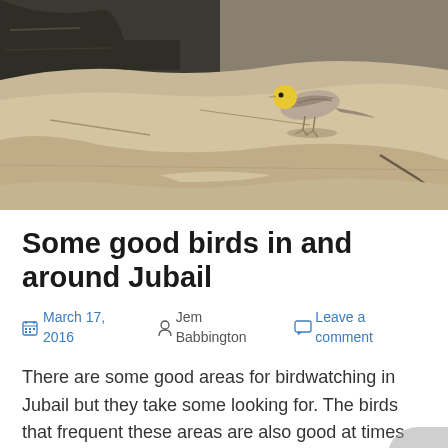[Figure (photo): A small bird with a yellow head and grey-brown body standing on a pale rocky surface near water, photographed in bright sunlight.]
Some good birds in and around Jubail
March 17, 2016   Jem Babbington   Leave a comment
There are some good areas for birdwatching in Jubail but they take some looking for. The birds that frequent these areas are also good at times and again take some looking for. Whilst birding